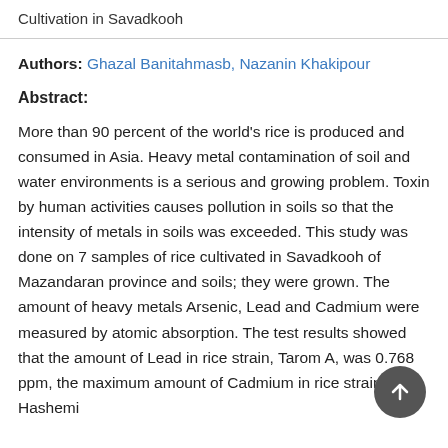Cultivation in Savadkooh
Authors: Ghazal Banitahmasb, Nazanin Khakipour
Abstract:
More than 90 percent of the world's rice is produced and consumed in Asia. Heavy metal contamination of soil and water environments is a serious and growing problem. Toxin by human activities causes pollution in soils so that the intensity of metals in soils was exceeded. This study was done on 7 samples of rice cultivated in Savadkooh of Mazandaran province and soils; they were grown. The amount of heavy metals Arsenic, Lead and Cadmium were measured by atomic absorption. The test results showed that the amount of Lead in rice strain, Tarom A, was 0.768 ppm, the maximum amount of Cadmium in rice strain, Hashemi